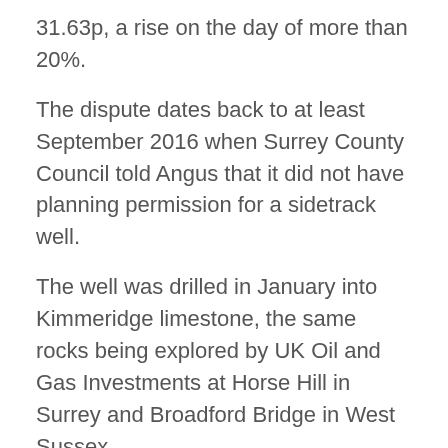31.63p, a rise on the day of more than 20%.
The dispute dates back to at least September 2016 when Surrey County Council told Angus that it did not have planning permission for a sidetrack well.
The well was drilled in January into Kimmeridge limestone, the same rocks being explored by UK Oil and Gas Investments at Horse Hill in Surrey and Broadford Bridge in West Sussex.
In the conference call last week Mr Vonk and the company chairman, Jonathan Tidswell-Pretorius, were asked whether the OGA was waiting for a written statement from the council that planning permission was not needed.
Mr Tidswell-Pretorius said he couldn't speak for the OGA but added: